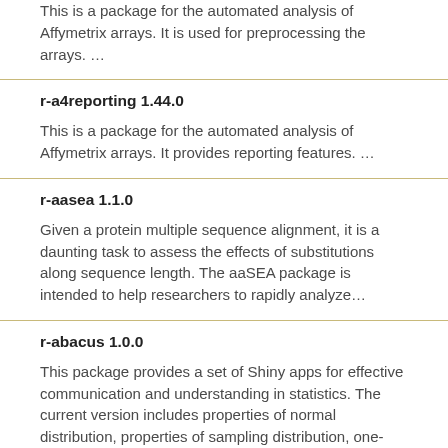This is a package for the automated analysis of Affymetrix arrays. It is used for preprocessing the arrays. …
r-a4reporting 1.44.0
This is a package for the automated analysis of Affymetrix arrays. It provides reporting features. …
r-aasea 1.1.0
Given a protein multiple sequence alignment, it is a daunting task to assess the effects of substitutions along sequence length. The aaSEA package is intended to help researchers to rapidly analyze…
r-abacus 1.0.0
This package provides a set of Shiny apps for effective communication and understanding in statistics. The current version includes properties of normal distribution, properties of sampling distribution, one-sample z and t